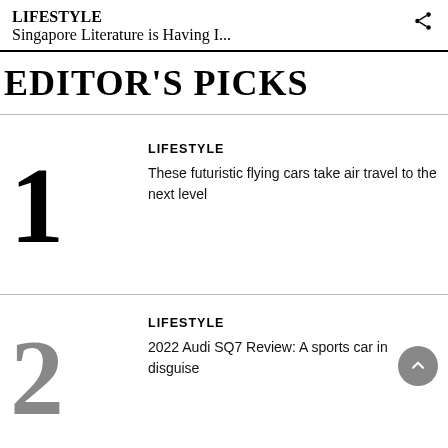LIFESTYLE
Singapore Literature is Having I...
EDITOR'S PICKS
1 LIFESTYLE These futuristic flying cars take air travel to the next level
2 LIFESTYLE 2022 Audi SQ7 Review: A sports car in disguise